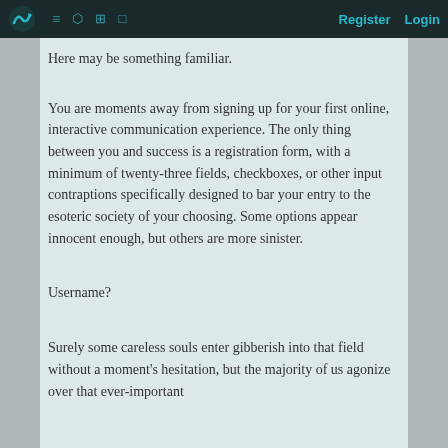Register  Login
Here may be something familiar.
You are moments away from signing up for your first online, interactive communication experience. The only thing between you and success is a registration form, with a minimum of twenty-three fields, checkboxes, or other input contraptions specifically designed to bar your entry to the esoteric society of your choosing. Some options appear innocent enough, but others are more sinister.
Username?
Surely some careless souls enter gibberish into that field without a moment's hesitation, but the majority of us agonize over that ever-important